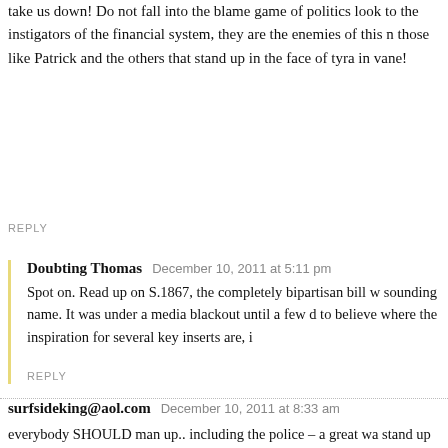take us down! Do not fall into the blame game of politics look to the instigators of the financial system, they are the enemies of this nation, those like Patrick and the others that stand up in the face of tyranny, not in vane!
REPLY
Doubting Thomas   December 10, 2011 at 5:11 pm
Spot on. Read up on S.1867, the completely bipartisan bill with an innocent sounding name. It was under a media blackout until a few days ago. Hard to believe where the inspiration for several key inserts are, i
REPLY
surfsideking@aol.com   December 10, 2011 at 8:33 am
everybody SHOULD man up.. including the police – a great wa stand up against police brutality in this video